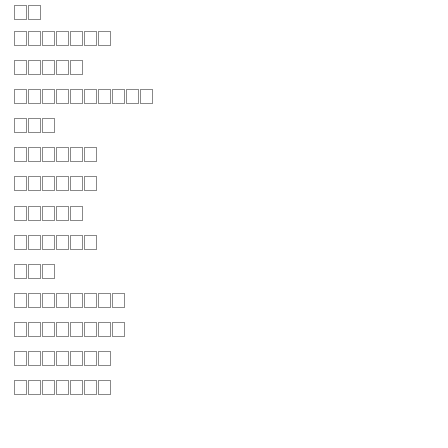██
███████
█████
██████████
███
██████
██████
█████
██████
███
████████
████████
███████
███████